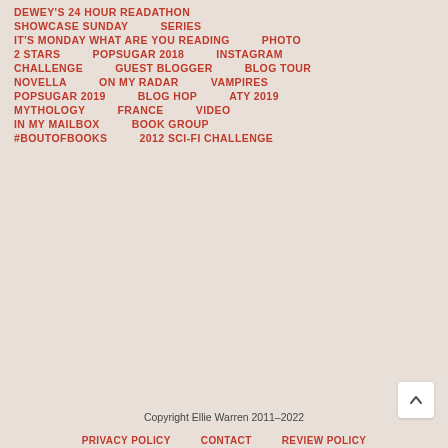DEWEY'S 24 HOUR READATHON
SHOWCASE SUNDAY    SERIES
IT'S MONDAY WHAT ARE YOU READING    PHOTO
2 STARS    POPSUGAR 2018    INSTAGRAM
CHALLENGE    GUEST BLOGGER    BLOG TOUR
NOVELLA    ON MY RADAR    VAMPIRES
POPSUGAR 2019    BLOG HOP    ATY 2019
MYTHOLOGY    FRANCE    VIDEO
IN MY MAILBOX    BOOK GROUP
#BOUTOFBOOKS    2012 SCI-FI CHALLENGE
Copyright Ellie Warren 2011-2022
PRIVACY POLICY    CONTACT    REVIEW POLICY